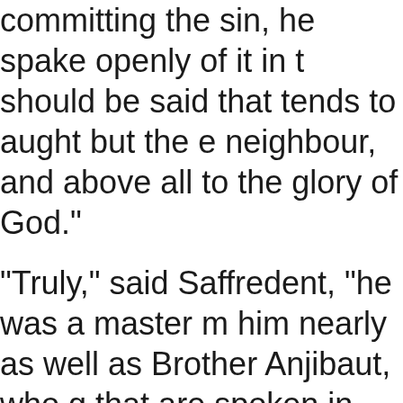committing the sin, he spake openly of it in t should be said that tends to aught but the e neighbour, and above all to the glory of God."
"Truly," said Saffredent, "he was a master m him nearly as well as Brother Anjibaut, who g that are spoken in merry company."
"For my part, I can see nothing laughable in s "especially in such a place."
"You forget, madam," said Nomerfide, "that a not so very long ago, the good villagers, and i dwellers in the large towns, who think thems people, had greater regard for such preachers